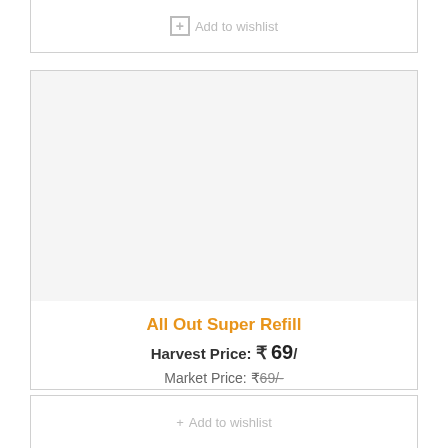Add to wishlist
[Figure (photo): Product image area for All Out Super Refill — light grey placeholder background]
All Out Super Refill
Harvest Price: ₹ 69/
Market Price: ₹69/-
Add to cart
Add to wishlist